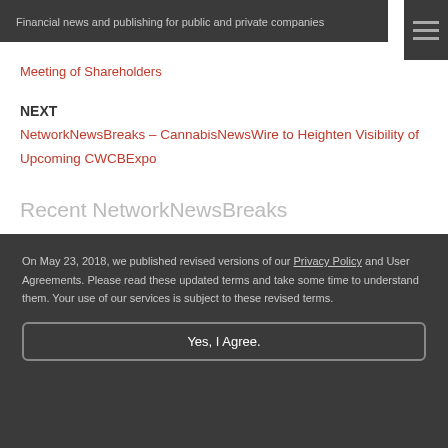Financial news and publishing for public and private companies
Meeting of Shareholders
NEXT
NetworkNewsBreaks – CannabisNewsWire to Heighten Visibility of Upcoming CWCBExpo
Recent NetworkNewsBreaks
On May 23, 2018, we published revised versions of our Privacy Policy and User Agreements. Please read these updated terms and take some time to understand them. Your use of our services is subject to these revised terms.
Yes, I Agree.